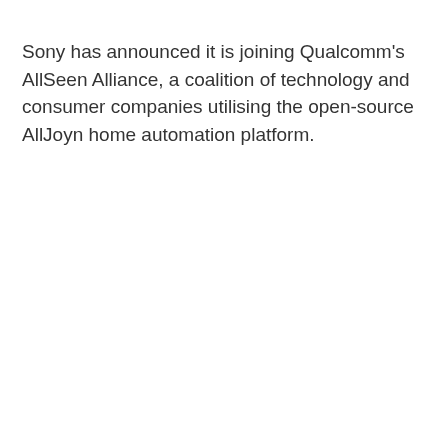Sony has announced it is joining Qualcomm's AllSeen Alliance, a coalition of technology and consumer companies utilising the open-source AllJoyn home automation platform.